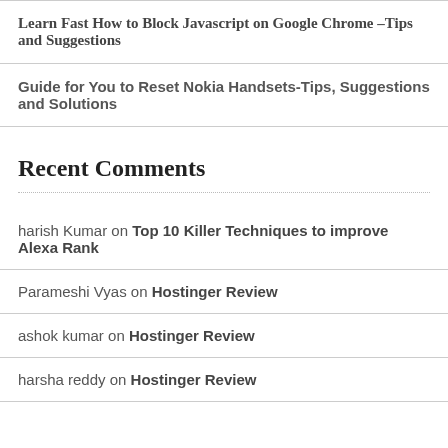Learn Fast How to Block Javascript on Google Chrome –Tips and Suggestions
Guide for You to Reset Nokia Handsets-Tips, Suggestions and Solutions
Recent Comments
harish Kumar on Top 10 Killer Techniques to improve Alexa Rank
Parameshi Vyas on Hostinger Review
ashok kumar on Hostinger Review
harsha reddy on Hostinger Review